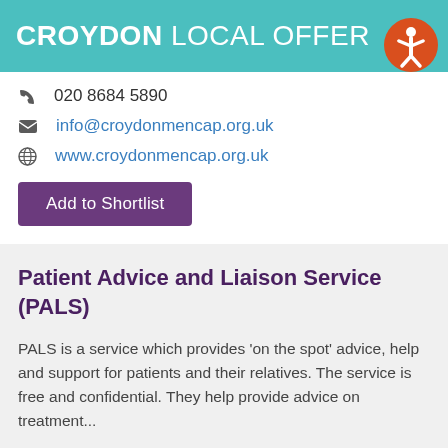CROYDON LOCAL OFFER
020 8684 5890
info@croydonmencap.org.uk
www.croydonmencap.org.uk
Add to Shortlist
Patient Advice and Liaison Service (PALS)
PALS is a service which provides ‘on the spot’ advice, help and support for patients and their relatives. The service is free and confidential. They help provide advice on treatment...
Applicable age ranges: 25 plus years, Parents and carers, 17 to 24 years, 11 to 16 years, 5 to 10 years, 0 to 4 years